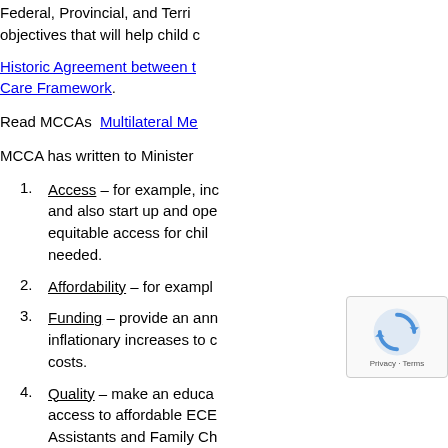Federal, Provincial, and Territorial objectives that will help child ...
Historic Agreement between the ... Care Framework.
Read MCCAs  Multilateral Me...
MCCA has written to Minister...
Access – for example, inc... and also start up and ope... equitable access for chil... needed.
Affordability – for exampl...
Funding – provide an ann... inflationary increases to d... costs.
Quality – make an educa... access to affordable ECE... Assistants and Family Ch...
Strengthen governance &... resource, gui...
MCCA continues ... the development of a collabor...